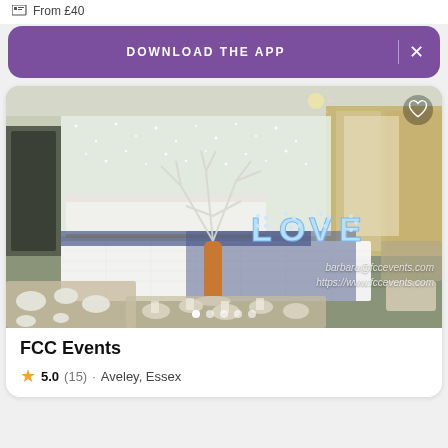From £40
DOWNLOAD THE APP
[Figure (photo): Wedding venue photo showing decorated event hall with illuminated LOVE letters, a white sparkling dance floor, floral centerpiece with lights, and tables set for a wedding reception. Watermarks read barbara@fccevents.com and https://www.fccevents.com]
FCC Events
5.0 (15) · Aveley, Essex